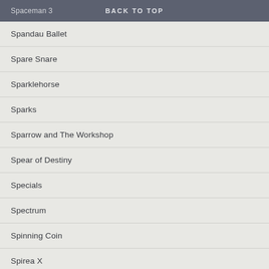Spaceman 3 | BACK TO TOP
Spandau Ballet
Spare Snare
Sparklehorse
Sparks
Sparrow and The Workshop
Spear of Destiny
Specials
Spectrum
Spinning Coin
Spirea X
Spiritualized
Spitfire Boys